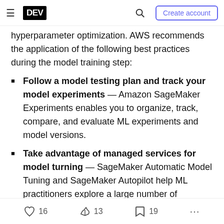DEV | Create account
hyperparameter optimization. AWS recommends the application of the following best practices during the model training step:
Follow a model testing plan and track your model experiments — Amazon SageMaker Experiments enables you to organize, track, compare, and evaluate ML experiments and model versions.
Take advantage of managed services for model turning — SageMaker Automatic Model Tuning and SageMaker Autopilot help ML practitioners explore a large number of
16  13  19  ...